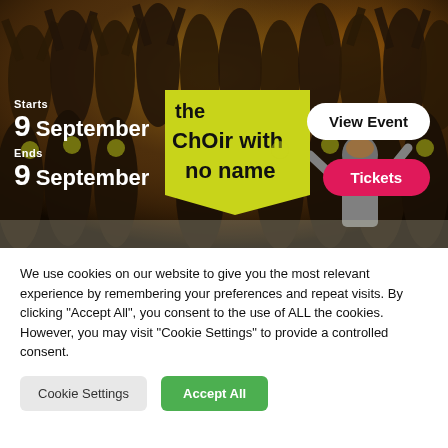[Figure (photo): Photo of a large choir group in black t-shirts with yellow logos, arms raised, performing on stage. A conductor in grey is seen from behind. A yellow sign reading 'the Choir with no name' is visible. Overlaid text shows event dates and buttons.]
Starts
9 September
Ends
9 September
View Event
Tickets
We use cookies on our website to give you the most relevant experience by remembering your preferences and repeat visits. By clicking "Accept All", you consent to the use of ALL the cookies. However, you may visit "Cookie Settings" to provide a controlled consent.
Cookie Settings
Accept All